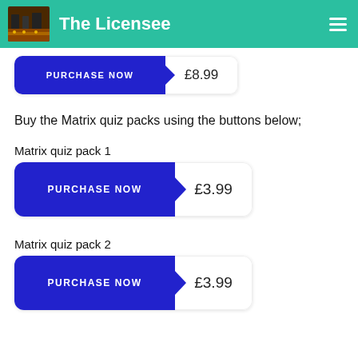The Licensee
[Figure (screenshot): Partial purchase button showing PURCHASE NOW and £8.99]
Buy the Matrix quiz packs using the buttons below;
Matrix quiz pack 1
[Figure (screenshot): Purchase button: PURCHASE NOW with price £3.99]
Matrix quiz pack 2
[Figure (screenshot): Purchase button: PURCHASE NOW with price £3.99]